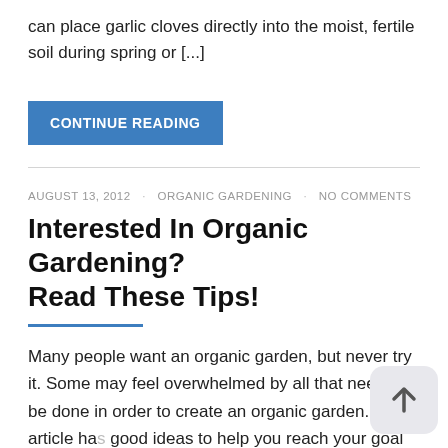can place garlic cloves directly into the moist, fertile soil during spring or [...]
CONTINUE READING
AUGUST 13, 2012 · ORGANIC GARDENING · NO COMMENTS
Interested In Organic Gardening? Read These Tips!
Many people want an organic garden, but never try it. Some may feel overwhelmed by all that needs to be done in order to create an organic garden. This article has good ideas to help you reach your goal of creating a garden for your enjoyment, and without incurring too